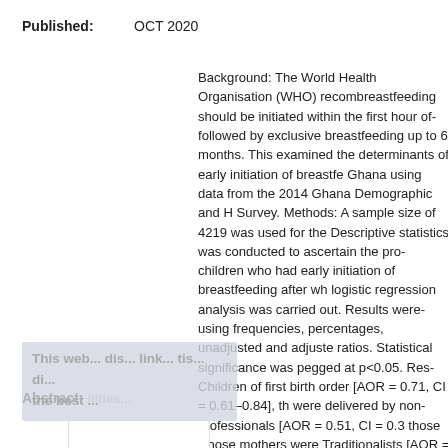Published: OCT 2020
Background: The World Health Organisation (WHO) recommends that breastfeeding should be initiated within the first hour of birth, followed by exclusive breastfeeding up to 6 months. This study examined the determinants of early initiation of breastfeeding in Ghana using data from the 2014 Ghana Demographic and Health Survey. Methods: A sample size of 4219 was used for the study. Descriptive statistics was conducted to ascertain the proportion of children who had early initiation of breastfeeding after which logistic regression analysis was carried out. Results were presented using frequencies, percentages, unadjusted and adjusted odds ratios. Statistical significance was pegged at p<0.05. Results: Children of first birth order [AOR = 0.71, CI = 0.61–0.84], those who were delivered by non-professionals [AOR = 0.51, CI = 0.3...], those whose mothers were Traditionalists [AOR = 0.65, CI...] and Mole-Dagbanis [AOR = 0.69, CI = 0.54–0.89] were less likely to go through early initiation of breastfeeding compared to those of higher birth order, those who were delivered by health professionals, those whose mothers were Christians and Akan, respectively. Conversely, children born to mothers who read newspaper/magazine at least once a week were more likely to go through early initiation of breastfeeding, compared to those who never read newspaper/magazine [AOR = 1.40, CI = 1.01–1.95]. Children of mothers who watched television less than once a week...
Abstract: